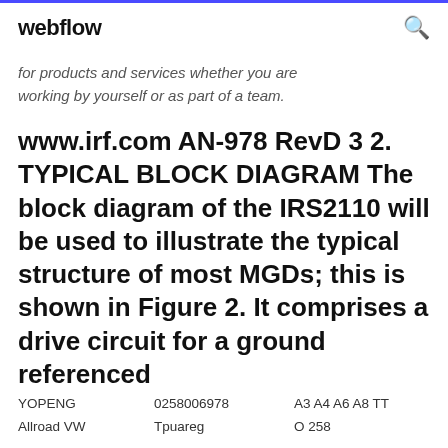webflow
for products and services whether you are working by yourself or as part of a team.
www.irf.com AN-978 RevD 3 2. TYPICAL BLOCK DIAGRAM The block diagram of the IRS2110 will be used to illustrate the typical structure of most MGDs; this is shown in Figure 2. It comprises a drive circuit for a ground referenced
| YOPENG | 0258006978 | A3 A4 A6 A8 TT |
| Allroad VW | Tpuareg | O 258 |